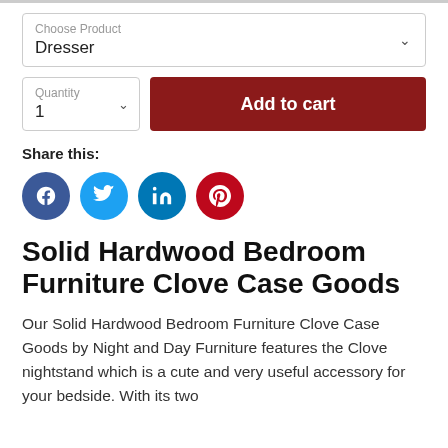Choose Product
Dresser
Quantity
1
Add to cart
Share this:
[Figure (infographic): Social media share icons: Facebook (blue circle, f), Twitter (blue circle, bird), LinkedIn (blue circle, in), Pinterest (red circle, p)]
Solid Hardwood Bedroom Furniture Clove Case Goods
Our Solid Hardwood Bedroom Furniture Clove Case Goods by Night and Day Furniture features the Clove nightstand which is a cute and very useful accessory for your bedside. With its two